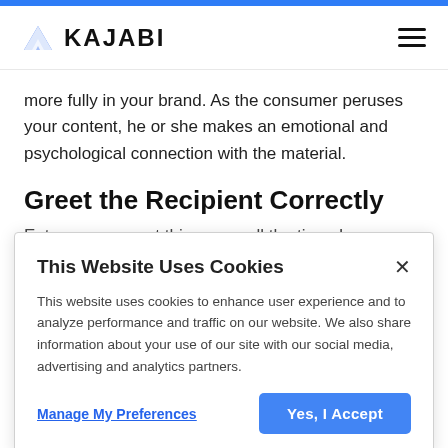[Figure (logo): Kajabi logo with blue geometric K icon and bold KAJABI wordmark, plus hamburger menu icon on the right]
more fully in your brand. As the consumer peruses your content, he or she makes an emotional and psychological connection with the material.
Greet the Recipient Correctly
Entrepreneurs get this wrong all the time. Improper
This Website Uses Cookies
This website uses cookies to enhance user experience and to analyze performance and traffic on our website. We also share information about your use of our site with our social media, advertising and analytics partners.
Manage My Preferences
Yes, I Accept